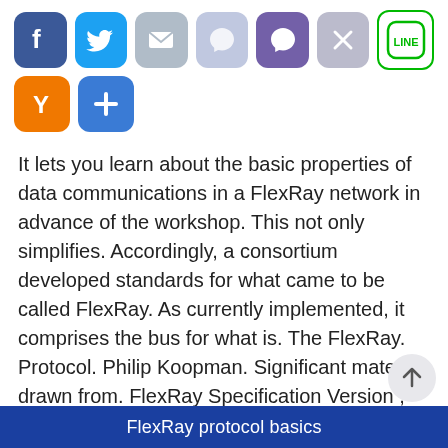[Figure (other): Row of social sharing icon buttons: Facebook (blue), Twitter (blue), Mail (grey), Viber-like (light blue), Viber (purple), X/cancel (grey), LINE (white/green border)]
[Figure (other): Second row of social sharing icon buttons: Y Combinator (orange), Plus/Add (blue)]
It lets you learn about the basic properties of data communications in a FlexRay network in advance of the workshop. This not only simplifies. Accordingly, a consortium developed standards for what came to be called FlexRay. As currently implemented, it comprises the bus for what is. The FlexRay. Protocol. Philip Koopman. Significant material drawn from. FlexRay Specification Version , June 30 Nov © Copyright
FlexRay protocol basics